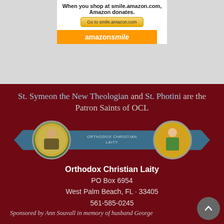[Figure (screenshot): Amazon Smile advertisement box with text 'When you shop at smile.amazon.com, Amazon donates.' and a button 'Go to smile.amazon.com' and an orange Amazon Smile banner at the bottom]
St. Symeon the New Theologian and St. Photini are the Patron Saints of OCL
[Figure (logo): Orthodox Christian Laity logo with two circular saint icons and a teal ribbon banner reading 'ORTHODOX CHRISTIAN LAITY']
Orthodox Christian Laity
PO Box 6954
West Palm Beach, FL · 33405
561-585-0245
Sponsored by Ann Souvall in memory of husband George